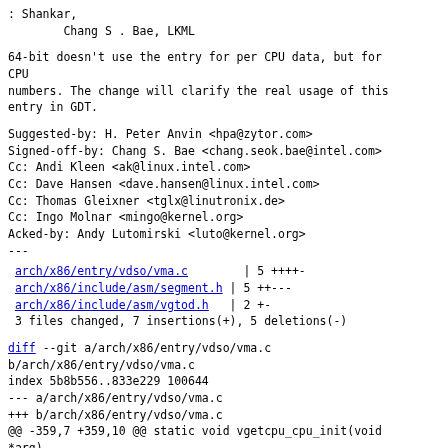: Shankar,
        Chang S . Bae, LKML
64-bit doesn't use the entry for per CPU data, but for CPU
numbers. The change will clarify the real usage of this
entry in GDT.
Suggested-by: H. Peter Anvin <hpa@zytor.com>
Signed-off-by: Chang S. Bae <chang.seok.bae@intel.com>
Cc: Andi Kleen <ak@linux.intel.com>
Cc: Dave Hansen <dave.hansen@linux.intel.com>
Cc: Thomas Gleixner <tglx@linutronix.de>
Cc: Ingo Molnar <mingo@kernel.org>
Acked-by: Andy Lutomirski <luto@kernel.org>
---
arch/x86/entry/vdso/vma.c        | 5 ++++- 
 arch/x86/include/asm/segment.h | 5 ++---
 arch/x86/include/asm/vgtod.h   | 2 +-
 3 files changed, 7 insertions(+), 5 deletions(-)
diff --git a/arch/x86/entry/vdso/vma.c
b/arch/x86/entry/vdso/vma.c
index 5b8b556..833e229 100644
--- a/arch/x86/entry/vdso/vma.c
+++ b/arch/x86/entry/vdso/vma.c
@@ -359,7 +359,10 @@ static void vgetcpu_cpu_init(void
*arg)
        d.p = 1;                    /* Present */
        d.d = 1;                    /* 32-bit */